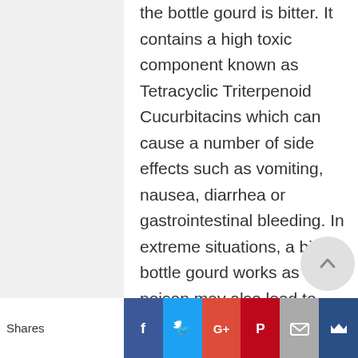the bottle gourd is bitter. It contains a high toxic component known as Tetracyclic Triterpenoid Cucurbitacins which can cause a number of side effects such as vomiting, nausea, diarrhea or gastrointestinal bleeding. In extreme situations, a bitter bottle gourd works as poison may also lead to death.
How to Make Lauki Juice